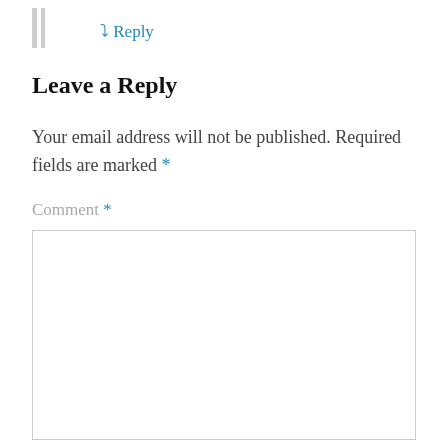↳ Reply
Leave a Reply
Your email address will not be published. Required fields are marked *
Comment *